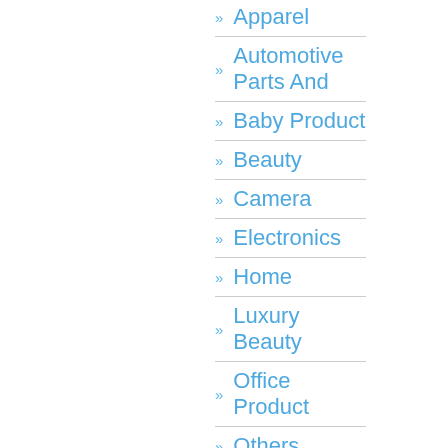» Apparel
» Automotive Parts And
» Baby Product
» Beauty
» Camera
» Electronics
» Home
» Luxury Beauty
» Office Product
» Others
» Personal Computer
» Toy
» Uncategorized